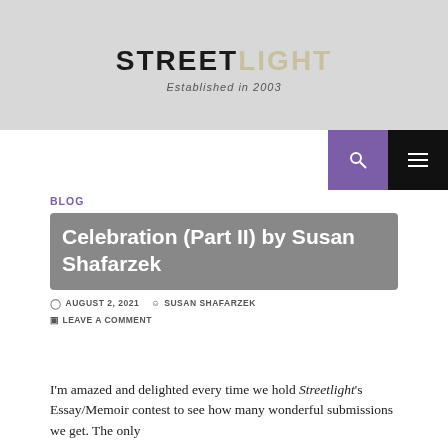STREETLIGHT — Established in 2003
Celebration (Part II) by Susan Shafarzek
BLOG
AUGUST 2, 2021   SUSAN SHAFARZEK   LEAVE A COMMENT
I'm amazed and delighted every time we hold Streetlight's Essay/Memoir contest to see how many wonderful submissions we get. The only